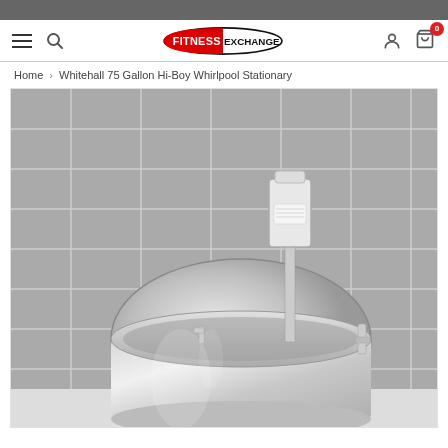Fitness Exchange - Navigation header with hamburger menu, search, logo, user icon, and cart (0 items)
Home > Whitehall 75 Gallon Hi-Boy Whirlpool Stationary
[Figure (photo): Black and white photograph of a Whitehall 75 Gallon Hi-Boy Whirlpool Stationary unit — a large stainless steel oval-shaped whirlpool tank with a turbine motor mounted on the rim, photographed against a tiled wall background]